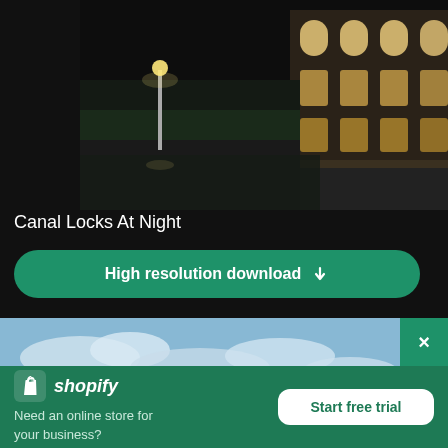[Figure (photo): Night-time aerial view of canal locks with illuminated buildings and street lights]
Canal Locks At Night
High resolution download ↓
[Figure (photo): Daytime sky with clouds, partial view of outdoor scene]
×
[Figure (logo): Shopify logo with bag icon and italic wordmark]
Need an online store for your business?
Start free trial